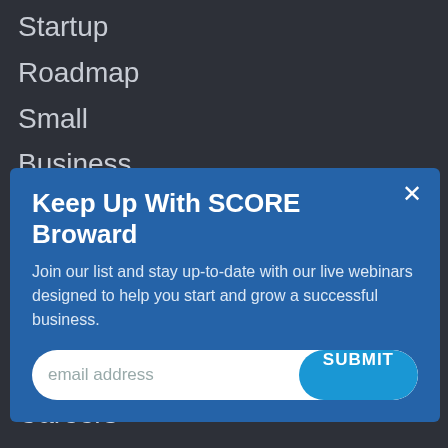Startup
Roadmap
Small
Business
Resilience
Learning
[Figure (screenshot): Modal popup with title 'Keep Up With SCORE Broward', subtitle text about joining list for webinars, email address input field, and SUBMIT button. Close (×) button in top right.]
Volunteer
Careers
Partner
Who